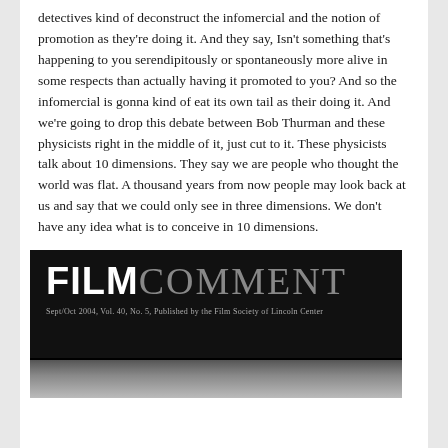detectives kind of deconstruct the infomercial and the notion of promotion as they're doing it. And they say, Isn't something that's happening to you serendipitously or spontaneously more alive in some respects than actually having it promoted to you? And so the infomercial is gonna kind of eat its own tail as their doing it. And we're going to drop this debate between Bob Thurman and these physicists right in the middle of it, just cut to it. These physicists talk about 10 dimensions. They say we are people who thought the world was flat. A thousand years from now people may look back at us and say that we could only see in three dimensions. We don't have any idea what is to conceive in 10 dimensions.
[Figure (photo): Film Comment magazine cover: dark/black background with 'FILM COMMENT' text in large white/grey letters, subtitle reads 'Sept/Oct 2004, Vol. 40, No. 5, Published by the Film Society of Lincoln Center', with partial image of a person below.]